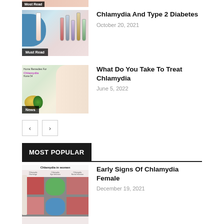[Figure (photo): Partially visible cropped image at top showing 'Most Read' badge]
[Figure (photo): Medical blood test tubes with blue glove holding a labeled vial — Chlamydia And Type 2 Diabetes article thumbnail with 'Must Read' badge]
Chlamydia And Type 2 Diabetes
October 20, 2021
[Figure (photo): Home remedies for Chlamydia — herbal remedies image with oil and leaves alongside a person's torso in white underwear with 'News' badge]
What Do You Take To Treat Chlamydia
June 5, 2022
MOST POPULAR
[Figure (photo): Chlamydia in women — medical infographic showing various chlamydia symptoms and infection types in a grid layout]
Early Signs Of Chlamydia Female
December 19, 2021